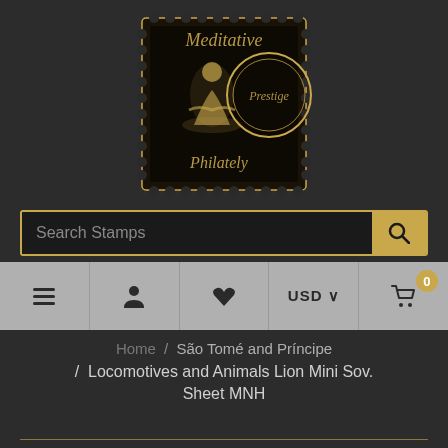[Figure (logo): Meditative Philately stamp logo with meditating figure silhouette and circular Prestige badge in gold and black]
Search Stamps
USD
0
Home / São Tomé and Príncipe / Locomotives and Animals Lion Mini Sov. Sheet MNH